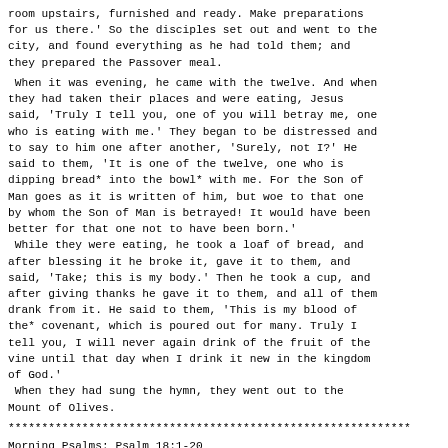room upstairs, furnished and ready. Make preparations for us there.' So the disciples set out and went to the city, and found everything as he had told them; and they prepared the Passover meal.

 When it was evening, he came with the twelve. And when they had taken their places and were eating, Jesus said, 'Truly I tell you, one of you will betray me, one who is eating with me.' They began to be distressed and to say to him one after another, 'Surely, not I?' He said to them, 'It is one of the twelve, one who is dipping bread* into the bowl* with me. For the Son of Man goes as it is written of him, but woe to that one by whom the Son of Man is betrayed! It would have been better for that one not to have been born.'
 While they were eating, he took a loaf of bread, and after blessing it he broke it, gave it to them, and said, 'Take; this is my body.' Then he took a cup, and after giving thanks he gave it to them, and all of them drank from it. He said to them, 'This is my blood of the* covenant, which is poured out for many. Truly I tell you, I will never again drink of the fruit of the vine until that day when I drink it new in the kingdom of God.'
 When they had sung the hymn, they went out to the Mount of Olives.
************************************************************
Morning Psalms: Psalm 18:1-20
Psalm 18:1-20